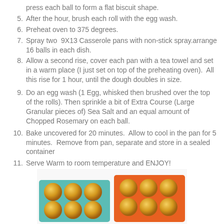press each ball to form a flat biscuit shape.
After the hour, brush each roll with the egg wash.
Preheat oven to 375 degrees.
Spray two  9X13 Casserole pans with non-stick spray.arrange 16 balls in each dish.
Allow a second rise, cover each pan with a tea towel and set in a warm place (I just set on top of the preheating oven).  All this rise for 1 hour, until the dough doubles in size.
Do an egg wash (1 Egg, whisked then brushed over the top of the rolls). Then sprinkle a bit of Extra Course (Large Granular pieces of) Sea Salt and an equal amount of Chopped Rosemary on each ball.
Bake uncovered for 20 minutes.  Allow to cool in the pan for 5 minutes.  Remove from pan, separate and store in a sealed container
Serve Warm to room temperature and ENJOY!
[Figure (photo): Two casserole pans of baked rosemary rolls — one teal/turquoise pan on the left and one orange pan on the right, both filled with golden-brown rolls.]